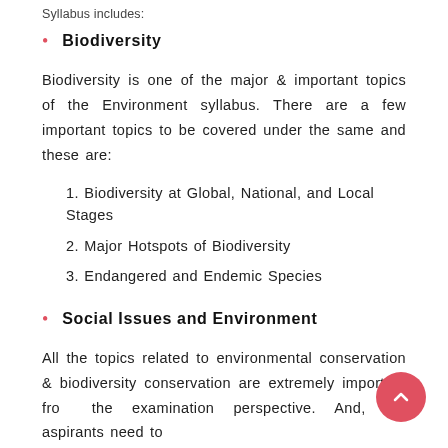Syllabus includes:
Biodiversity
Biodiversity is one of the major & important topics of the Environment syllabus. There are a few important topics to be covered under the same and these are:
1. Biodiversity at Global, National, and Local Stages
2. Major Hotspots of Biodiversity
3. Endangered and Endemic Species
Social Issues and Environment
All the topics related to environmental conservation & biodiversity conservation are extremely important from the examination perspective. And, the aspirants need to